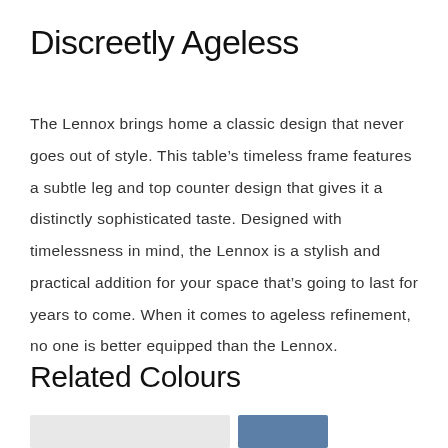Discreetly Ageless
The Lennox brings home a classic design that never goes out of style. This table’s timeless frame features a subtle leg and top counter design that gives it a distinctly sophisticated taste. Designed with timelessness in mind, the Lennox is a stylish and practical addition for your space that’s going to last for years to come. When it comes to ageless refinement, no one is better equipped than the Lennox.
Related Colours
[Figure (other): Two colour swatches: a large light grey swatch and a smaller blue swatch]